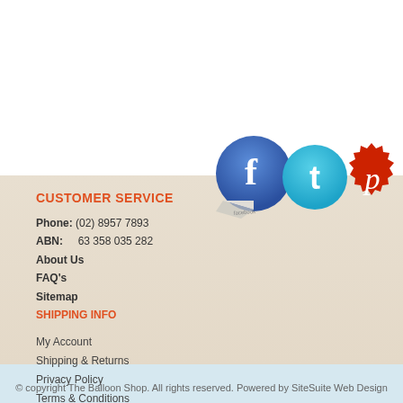[Figure (illustration): Three social media icons: Facebook (blue peeling sticker style), Twitter (cyan circle), Pinterest (red badge/seal style)]
CUSTOMER SERVICE
Phone: (02) 8957 7893
ABN:    63 358 035 282
About Us
FAQ's
Sitemap
SHIPPING INFO
My Account
Shipping & Returns
Privacy Policy
Terms & Conditions
© copyright The Balloon Shop. All rights reserved. Powered by SiteSuite Web Design